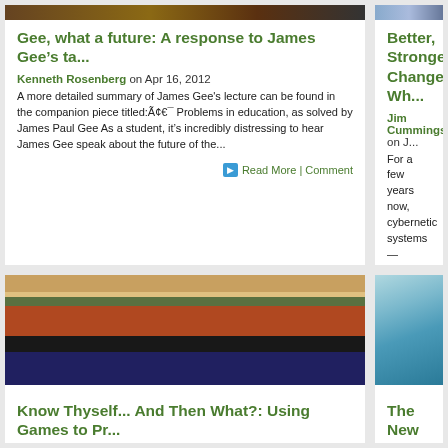[Figure (photo): Partial image of a person or figure at the top of the first blog card]
Gee, what a future: A response to James Gee’s ta...
Kenneth Rosenberg on Apr 16, 2012
A more detailed summary of James Gee’s lecture can be found in the companion piece titled:Ã¢€¯ Problems in education, as solved by James Paul Gee As a student, it’s incredibly distressing to hear James Gee speak about the future of the...
Read More | Comment
[Figure (photo): Partial image at top right card]
Better, Stronger: Change Wh...
Jim Cummings on J...
For a few years now, cybernetic systems — communication and controller, a machine between...
[Figure (photo): Close-up photo of colorful abacus beads in rows: orange, red, and dark blue/black beads]
Know Thyself... And Then What?: Using Games to Pr...
Jim Cummings on Jan 15, 2011
We’re hardly two weeks into 2011 and, undoubtedly,
[Figure (photo): Photo of ocean waves with white foam and blue-green water]
The New York T...
Travis L. Ross on De...
Along with Jim Cum... gamification the New...